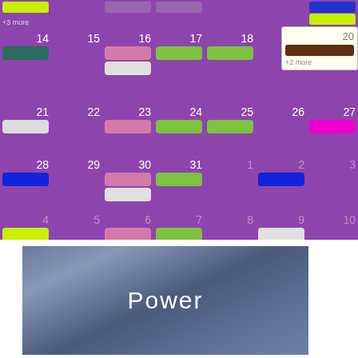[Figure (screenshot): Calendar app showing weeks with colored event bars on purple background. Shows dates 14-20, 21-27, 28-31/1-3, 4-10. Various colored event bars: dark teal, pink, green, white/grey, yellow-green, blue, magenta. A popup shows for day 20 with cream background, brown bar and '+2 more' text. Top row has '+3 more' link.]
[Figure (screenshot): Power section at bottom showing dark blue-grey gradient background with white text 'Power' in thin font]